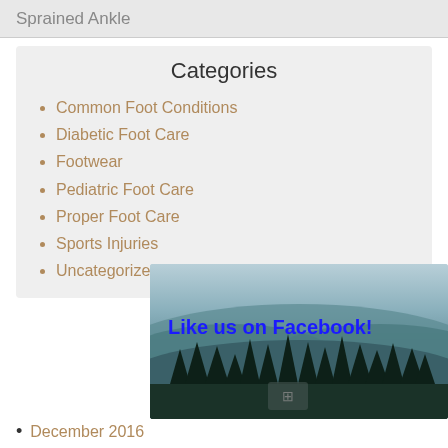Sprained Ankle
Categories
Common Foot Conditions
Diabetic Foot Care
Footwear
Pediatric Foot Care
Proper Foot Care
Sports Injuries
Uncategorized
[Figure (photo): Mountain forest landscape with text overlay 'Like us on Facebook!' in bold blue text]
December 2016